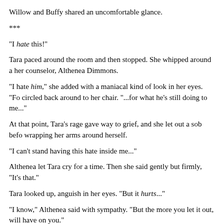Willow and Buffy shared an uncomfortable glance.
***
“I hate this!”
Tara paced around the room and then stopped. She whipped around a her counselor, Althenea Dimmons.
“I hate him,” she added with a maniacal kind of look in her eyes. “Fo circled back around to her chair. “...for what he’s still doing to me...”
At that point, Tara’s rage gave way to grief, and she let out a sob befo wrapping her arms around herself.
“I can’t stand having this hate inside me...”
Althenea let Tara cry for a time. Then she said gently but firmly, “It’s that.”
Tara looked up, anguish in her eyes. “But it hurts...”
“I know,” Althenea said with sympathy. “But the more you let it out, will have on you.”
Tara took in a deep breath and let it out, nodding in understanding.